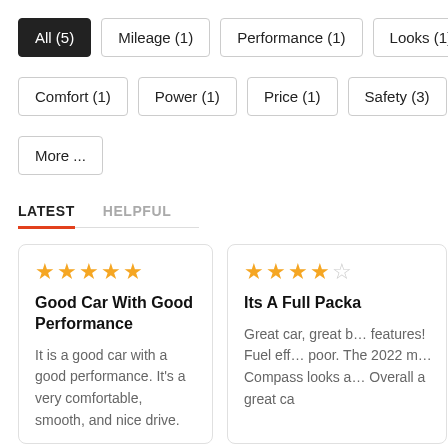All (5)
Mileage (1)
Performance (1)
Looks (1)
Comfort (1)
Power (1)
Price (1)
Safety (3)
More ...
LATEST
HELPFUL
Good Car With Good Performance
It is a good car with a good performance. It's a very comfortable, smooth, and nice drive.
Its A Full Packa…
Great car, great b… features! Fuel eff… poor. The 2022 m… Compass looks a… Overall a great ca…